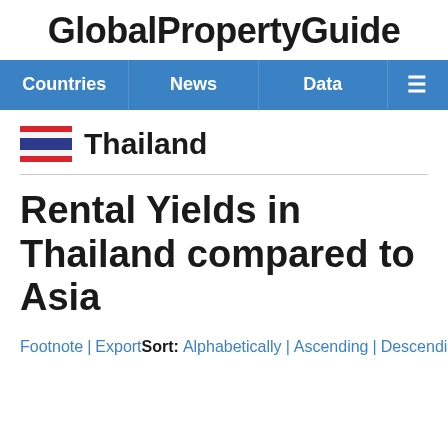GlobalPropertyGuide
Countries | News | Data | ≡
Thailand
Rental Yields in Thailand compared to Asia
Footnote | Export   Sort: Alphabetically | Ascending | Descending